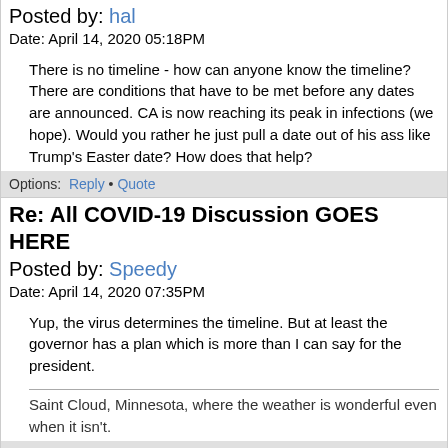Posted by: hal
Date: April 14, 2020 05:18PM
There is no timeline - how can anyone know the timeline? There are conditions that have to be met before any dates are announced. CA is now reaching its peak in infections (we hope). Would you rather he just pull a date out of his ass like Trump's Easter date? How does that help?
Options: Reply • Quote
Re: All COVID-19 Discussion GOES HERE
Posted by: Speedy
Date: April 14, 2020 07:35PM
Yup, the virus determines the timeline. But at least the governor has a plan which is more than I can say for the president.
Saint Cloud, Minnesota, where the weather is wonderful even when it isn't.
Options: Reply • Quote
Re: All COVID-19 Discussion GOES HERE
Posted by: wave rider
Date: April 15, 2020 01:03AM
An addition to this thread: [forums.macresource.com]